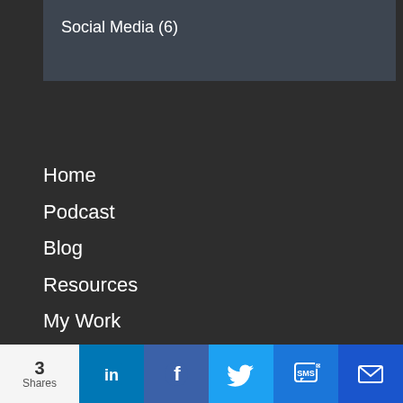Social Media (6)
Home
Podcast
Blog
Resources
My Work
About
Contact
Terms & Conditions
Privacy Policy
3 Shares | LinkedIn | Facebook | Twitter | SMS | Email